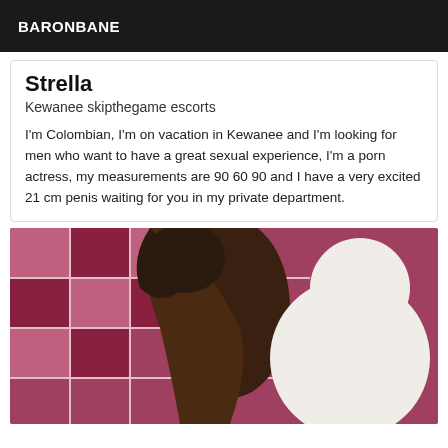BARONBANE
Strella
Kewanee skipthegame escorts
I'm Colombian, I'm on vacation in Kewanee and I'm looking for men who want to have a great sexual experience, I'm a porn actress, my measurements are 90 60 90 and I have a very excited 21 cm penis waiting for you in my private department.
[Figure (photo): A woman in a white dress on a red and white patterned bed, photographed from behind/side angle.]